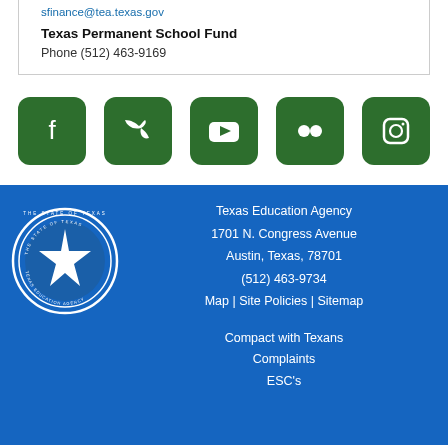sfinance@tea.texas.gov
Texas Permanent School Fund
Phone (512) 463-9169
[Figure (infographic): Social media icons: Facebook, Twitter, YouTube, Flickr, Instagram — all in dark green rounded square buttons]
[Figure (logo): Texas Education Agency state seal — circular blue and white seal]
Texas Education Agency
1701 N. Congress Avenue
Austin, Texas, 78701
(512) 463-9734
Map | Site Policies | Sitemap
Compact with Texans
Complaints
ESC's